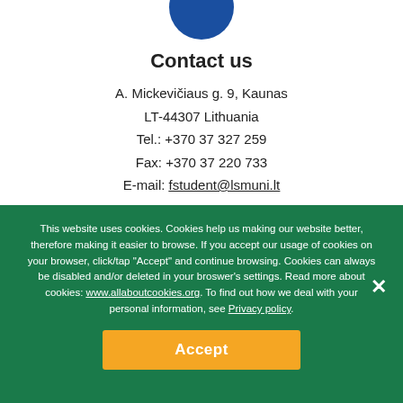[Figure (logo): Circular blue logo/icon, partially visible at top of page]
Contact us
A. Mickevičiaus g. 9, Kaunas
LT-44307 Lithuania
Tel.: +370 37 327 259
Fax: +370 37 220 733
E-mail: fstudent@lsmuni.lt
https://apply.lsmuni.lt/
www.lsmuni.lt
This website uses cookies. Cookies help us making our website better, therefore making it easier to browse. If you accept our usage of cookies on your browser, click/tap "Accept" and continue browsing. Cookies can always be disabled and/or deleted in your broswer's settings. Read more about cookies: www.allaboutcookies.org. To find out how we deal with your personal information, see Privacy policy.